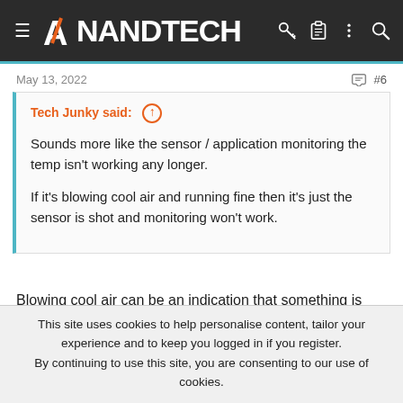AnandTech
May 13, 2022    #6
Tech Junky said: ⊕

Sounds more like the sensor / application monitoring the temp isn't working any longer.

If it's blowing cool air and running fine then it's just the sensor is shot and monitoring won't work.
Blowing cool air can be an indication that something is wrong with the heatsink contact as the heat from the CPU isn't being transferred
This site uses cookies to help personalise content, tailor your experience and to keep you logged in if you register.
By continuing to use this site, you are consenting to our use of cookies.